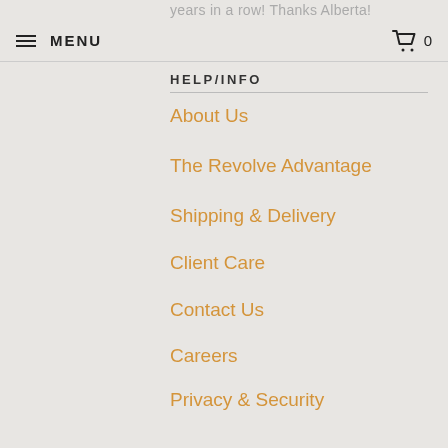MENU  0
years in a row! Thanks Alberta!
HELP/INFO
About Us
The Revolve Advantage
Shipping & Delivery
Client Care
Contact Us
Careers
Privacy & Security
SHOP REVOLVE
Living